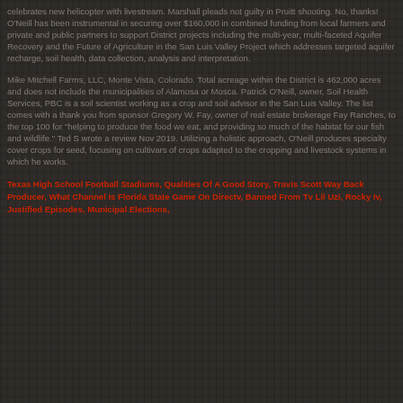celebrates new helicopter with livestream. Marshall pleads not guilty in Pruitt shooting. No, thanks! O'Neill has been instrumental in securing over $160,000 in combined funding from local farmers and private and public partners to support District projects including the multi-year, multi-faceted Aquifer Recovery and the Future of Agriculture in the San Luis Valley Project which addresses targeted aquifer recharge, soil health, data collection, analysis and interpretation.
Mike Mitchell Farms, LLC, Monte Vista, Colorado. Total acreage within the District is 462,000 acres and does not include the municipalities of Alamosa or Mosca. Patrick O'Neill, owner, Soil Health Services, PBC is a soil scientist working as a crop and soil advisor in the San Luis Valley. The list comes with a thank you from sponsor Gregory W. Fay, owner of real estate brokerage Fay Ranches, to the top 100 for "helping to produce the food we eat, and providing so much of the habitat for our fish and wildlife." Ted S wrote a review Nov 2019. Utilizing a holistic approach, O'Neill produces specialty cover crops for seed, focusing on cultivars of crops adapted to the cropping and livestock systems in which he works.
Texas High School Football Stadiums, Qualities Of A Good Story, Travis Scott Way Back Producer, What Channel Is Florida State Game On Directv, Banned From Tv Lil Uzi, Rocky Iv, Justified Episodes, Municipal Elections,